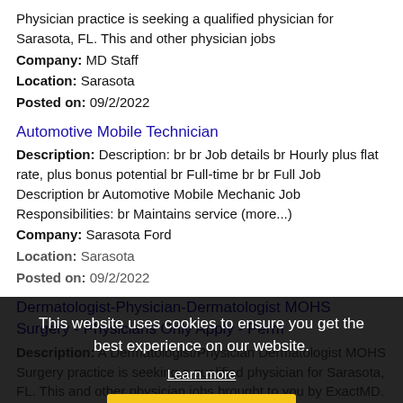Physician practice is seeking a qualified physician for Sarasota, FL. This and other physician jobs
Company: MD Staff
Location: Sarasota
Posted on: 09/2/2022
Automotive Mobile Technician
Description: Description: br br Job details br Hourly plus flat rate, plus bonus potential br Full-time br br Full Job Description br Automotive Mobile Mechanic Job Responsibilities: br Maintains service (more...)
Company: Sarasota Ford
Location: Sarasota
Posted on: 09/2/2022
Dermatologist-Physician-Dermatologist MOHS Surgery - Physicians Only Apply - Perm
Description: A Dermatologist/Physician Dermatologist MOHS Surgery practice is seeking a qualified physician for Sarasota, FL. This and other physician jobs brought to you by ExactMD. Medical Doctors Only Apply. br (more...)
Company: myDermRecruiter
Location: Sarasota
Posted on: 09/2/2022
This website uses cookies to ensure you get the best experience on our website. Learn more Got it!